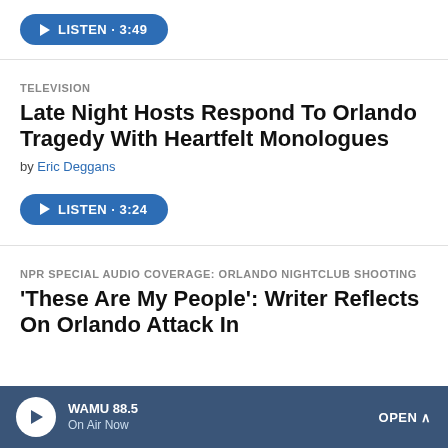[Figure (screenshot): Blue play button labeled LISTEN · 3:49]
TELEVISION
Late Night Hosts Respond To Orlando Tragedy With Heartfelt Monologues
by Eric Deggans
[Figure (screenshot): Blue play button labeled LISTEN · 3:24]
NPR SPECIAL AUDIO COVERAGE: ORLANDO NIGHTCLUB SHOOTING
'These Are My People': Writer Reflects On Orlando Attack In
WAMU 88.5 On Air Now OPEN ^